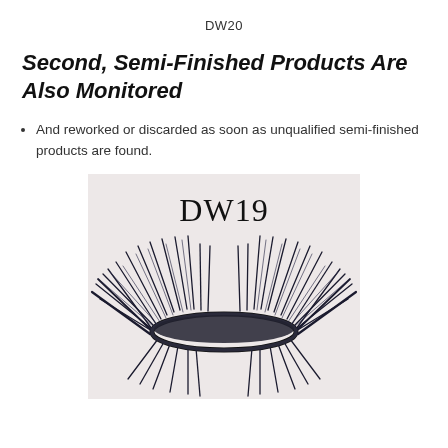DW20
Second, Semi-Finished Products Are Also Monitored
And reworked or discarded as soon as unqualified semi-finished products are found.
[Figure (photo): Product photo labeled DW19 showing a pair of fluffy false eyelashes with dark blue-black tones displayed on a light pinkish-white background.]